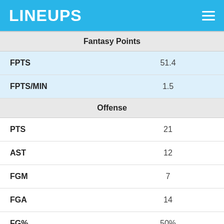LINEUPS
| Stat | Value |
| --- | --- |
| Fantasy Points |  |
| FPTS | 51.4 |
| FPTS/MIN | 1.5 |
| Offense |  |
| PTS | 21 |
| AST | 12 |
| FGM | 7 |
| FGA | 14 |
| FG% | 50% |
| 3PM | 3 |
| 3PA | 7 |
| 3P% | 42.9% |